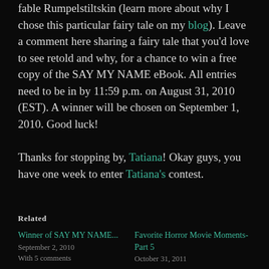fable Rumpelstiltskin (learn more about why I chose this particular fairy tale on my blog). Leave a comment here sharing a fairy tale that you'd love to see retold and why, for a chance to win a free copy of the SAY MY NAME eBook. All entries need to be in by 11:59 p.m. on August 31, 2010 (EST). A winner will be chosen on September 1, 2010. Good luck!
Thanks for stopping by, Tatiana! Okay guys, you have one week to enter Tatiana's contest.
Related
Winner of SAY MY NAME...
September 2, 2010
With 5 comments
Favorite Horror Movie Moments-Part 5
October 31, 2011